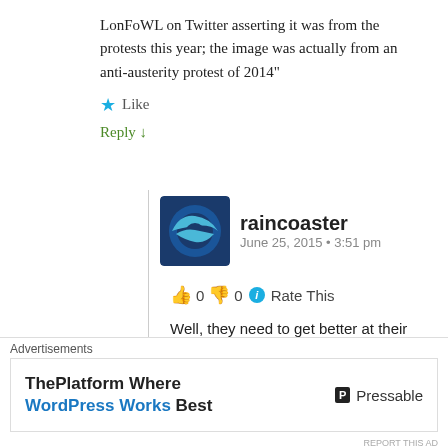LonFoWL on Twitter asserting it was from the protests this year; the image was actually from an anti-austerity protest of 2014"
★ Like
Reply ↓
raincoaster
June 25, 2015 • 3:51 pm
👍 0 👎 0 ℹ Rate This
Well, they need to get better at their phrasing then.
London TODAY 5pm: #Assange Solidarity Vigil Ecuadorian Embassy TUBE: Knightsbridge #3Years2Long
Advertisements
ThePlatform Where WordPress Works Best   P Pressable